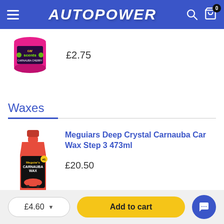AUTOPOWER
£2.75
Waxes
[Figure (photo): Red bottle of Meguiars Carnauba Wax product]
Meguiars Deep Crystal Carnauba Car Wax Step 3 473ml
£20.50
£4.60
Add to cart